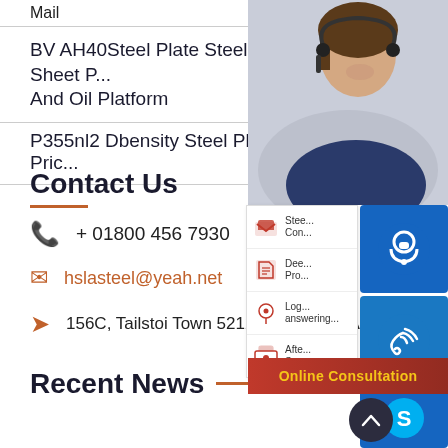Mail
BV AH40Steel Plate Steel Sheet P... And Oil Platform
P355nl2 Dbensity Steel Plate Pric...
Contact Us
+ 01800 456 7930
hslasteel@yeah.net
156C, Tailstoi Town 5212 MT,La city, IA
Recent News
[Figure (photo): Customer service representative with headset smiling, with blue online consultation icons (headset, phone, Skype) overlaid on right side, and a panel with steel service icons and Online Consultation button]